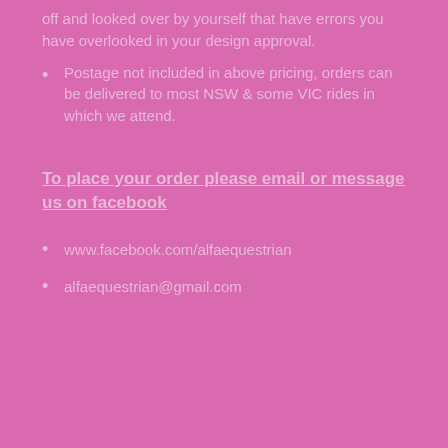off and looked over by yourself that have errors you have overlooked in your design approval.
Postage not included in above pricing, orders can be delivered to most NSW & some VIC rides in which we attend.
To place your order please email or message us on facebook
www.facebook.com/alfaequestrian
alfaequestrian@gmail.com